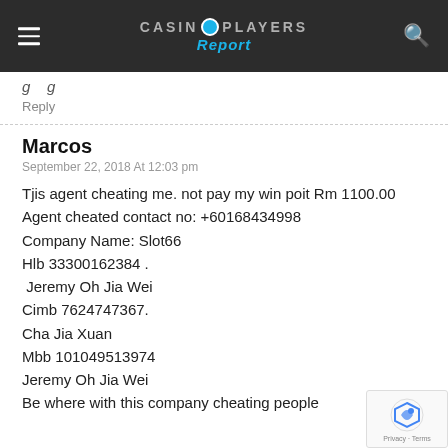CASINO PLAYERS Report
Reply
Marcos
September 22, 2018 At 12:03 pm
Tjis agent cheating me. not pay my win poit Rm 1100.00
Agent cheated contact no: +60168434998
Company Name: Slot66
Hlb 33300162384 .
 Jeremy Oh Jia Wei
Cimb 7624747367.
Cha Jia Xuan
Mbb 101049513974
Jeremy Oh Jia Wei
Be where with this company cheating people